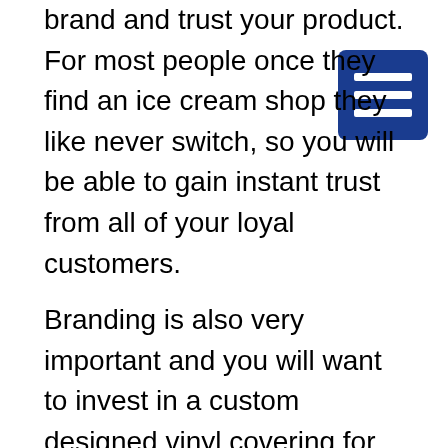brand and trust your product. For most people once they find an ice cream shop they like never switch, so you will be able to gain instant trust from all of your loyal customers.
Branding is also very important and you will want to invest in a custom designed vinyl covering for your truck or a professional paint job. It should use the same color scheme as your brick and mortar store and can include pictures of your most popular items or a mascot or a blown up version of your logo. The design can be simple or complex; the only thing you need to make sure of is that your truck is instantly recognizable from a distance. Expect